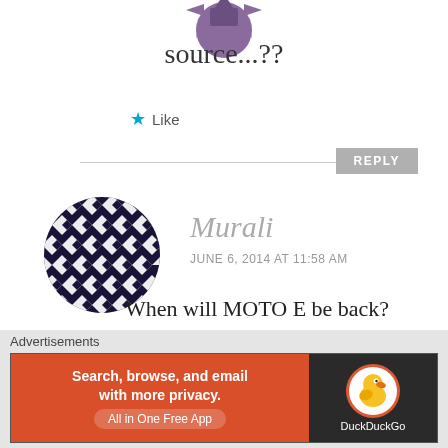[Figure (illustration): Partial purple/mauve spiky star or avatar icon, cropped at top of page]
source...??
★ Like
REPLY
[Figure (illustration): Circular avatar with dark navy and white geometric diamond/quatrefoil pattern tile design]
Murali
JUNE 6, 2014 AT 11:58 AM
When will MOTO E be back?
★ Like
Advertisements
[Figure (screenshot): DuckDuckGo advertisement banner: orange/red left side with text 'Search, browse, and email with more privacy. All in One Free App', dark right side with DuckDuckGo duck logo]